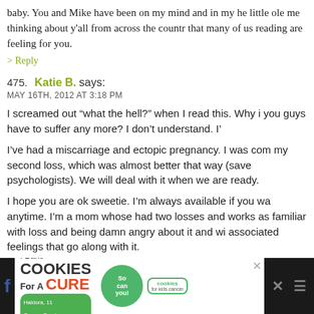baby. You and Mike have been on my mind and in my he little ole me thinking about y'all from across the countr that many of us reading are feeling for you.
> Reply
475. Katie B. says:
MAY 16TH, 2012 AT 3:18 PM
I screamed out “what the hell?” when I read this. Why i you guys have to suffer any more? I don’t understand. I’ I’ve had a miscarriage and ectopic pregnancy. I was com my second loss, which was almost better that way (save psychologists). We will deal with it when we are ready. I hope you are ok sweetie. I’m always available if you wa anytime. I’m a mom whose had two losses and works as familiar with loss and being damn angry about it and wi associated feelings that go along with it. So so sorry Heather and Mike.
[Figure (infographic): Advertisement banner for 'I Bake Cookies For A Cure' featuring Haldora, 11 Cancer Survivor, with green Cookies for Kids Cancer badge and close button.]